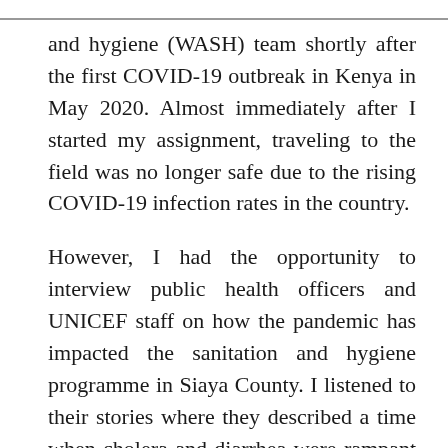and hygiene (WASH) team shortly after the first COVID-19 outbreak in Kenya in May 2020. Almost immediately after I started my assignment, traveling to the field was no longer safe due to the rising COVID-19 infection rates in the country.
However, I had the opportunity to interview public health officers and UNICEF staff on how the pandemic has impacted the sanitation and hygiene programme in Siaya County. I listened to their stories where they described a time when cholera and diarrhea were rampant in their community due to poor sanitation